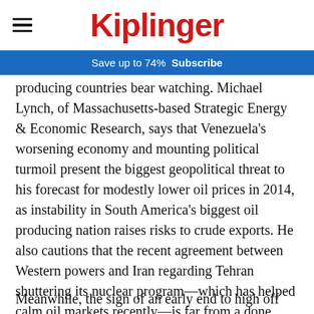Kiplinger
Save up to 74%  Subscribe
producing countries bear watching. Michael Lynch, of Massachusetts-based Strategic Energy & Economic Research, says that Venezuela's worsening economy and mounting political turmoil present the biggest geopolitical threat to his forecast for modestly lower oil prices in 2014, as instability in South America's biggest oil producing nation raises risks to crude exports. He also cautions that the recent agreement between Western powers and Iran regarding Tehran shuttering its nuclear program—which has helped calm oil markets recently—is far from a done deal.
Meanwhile, the sign of an early end to high off...